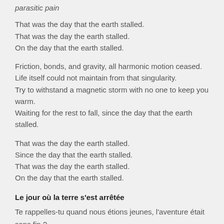parasitic pain
That was the day that the earth stalled.
That was the day the earth stalled.
On the day that the earth stalled.
Friction, bonds, and gravity, all harmonic motion ceased.
Life itself could not maintain from that singularity.
Try to withstand a magnetic storm with no one to keep you warm.
Waiting for the rest to fall, since the day that the earth stalled.
That was the day the earth stalled.
Since the day that the earth stalled.
That was the day the earth stalled.
On the day that the earth stalled.
Le jour où la terre s'est arrêtée
Te rappelles-tu quand nous étions jeunes, l'aventure était sans fin ?
C'était le bon vieux temps, mon ami.
Mais ce n'est pas du tout ce dont je veux te parler.
…